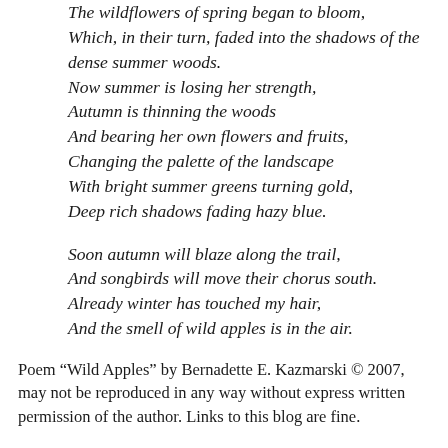The wildflowers of spring began to bloom,
Which, in their turn, faded into the shadows of the dense summer woods.
Now summer is losing her strength,
Autumn is thinning the woods
And bearing her own flowers and fruits,
Changing the palette of the landscape
With bright summer greens turning gold,
Deep rich shadows fading hazy blue.

Soon autumn will blaze along the trail,
And songbirds will move their chorus south.
Already winter has touched my hair,
And the smell of wild apples is in the air.
Poem “Wild Apples” by Bernadette E. Kazmarski © 2007, may not be reproduced in any way without express written permission of the author. Links to this blog are fine.